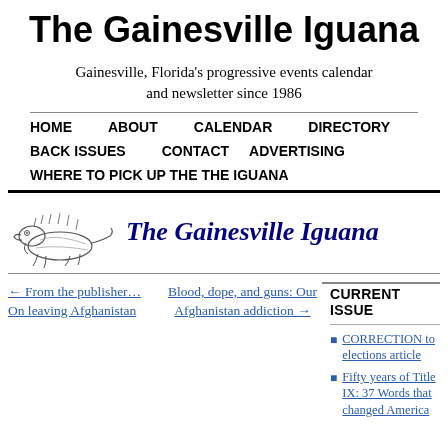The Gainesville Iguana
Gainesville, Florida's progressive events calendar and newsletter since 1986
HOME
ABOUT
CALENDAR
DIRECTORY
BACK ISSUES
CONTACT
ADVERTISING
WHERE TO PICK UP THE THE IGUANA
[Figure (illustration): Sketch of an iguana beside the newspaper title 'The Gainesville Iguana' in decorative serif font]
← From the publisher… On leaving Afghanistan
Blood, dope, and guns: Our Afghanistan addiction →
CURRENT ISSUE
CORRECTION to elections article
Fifty years of Title IX: 37 Words that changed America